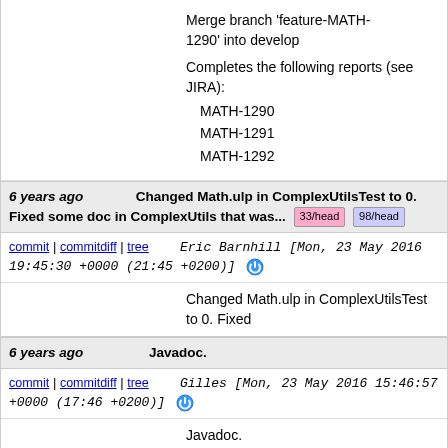Merge branch 'feature-MATH-1290' into develop

Completes the following reports (see JIRA):
  MATH-1290
  MATH-1291
  MATH-1292
6 years ago   Changed Math.ulp in ComplexUtilsTest to 0. Fixed some doc in ComplexUtils that was...  [33/head] [98/head]
commit | commitdiff | tree   Eric Barnhill [Mon, 23 May 2016 19:45:30 +0000 (21:45 +0200)]
Changed Math.ulp in ComplexUtilsTest to 0. Fixed
6 years ago   Javadoc.
commit | commitdiff | tree   Gilles [Mon, 23 May 2016 15:46:57 +0000 (17:46 +0200)]
Javadoc.
6 years ago   MATH-1366
commit | commitdiff | tree   Gilles [Fri, 20 May 2016 12:32:30 +0000 (14:32 +0200)]